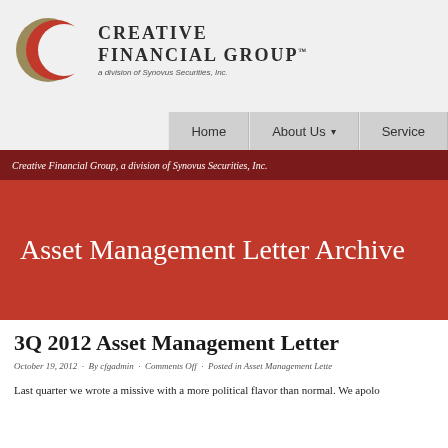[Figure (logo): Creative Financial Group logo with red crescent and name text, 'a division of Synovus Securities, Inc.']
Home  About Us  Service
Creative Financial Group, a division of Synovus Securities, Inc.
Asset Management Letter Archive
3Q 2012 Asset Management Letter
October 19, 2012  ·  By cfgadmin  ·  Comments Off  ·  Posted in Asset Management Lette
Last quarter we wrote a missive with a more political flavor than normal. We apolo